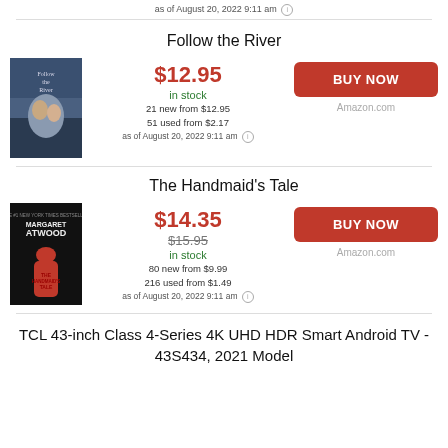as of August 20, 2022 9:11 am
Follow the River
[Figure (illustration): Book cover for Follow the River]
$12.95
in stock
21 new from $12.95
51 used from $2.17
as of August 20, 2022 9:11 am
BUY NOW
Amazon.com
The Handmaid's Tale
[Figure (illustration): Book cover for The Handmaid's Tale by Margaret Atwood]
$14.35
$15.95
in stock
80 new from $9.99
216 used from $1.49
as of August 20, 2022 9:11 am
BUY NOW
Amazon.com
TCL 43-inch Class 4-Series 4K UHD HDR Smart Android TV - 43S434, 2021 Model